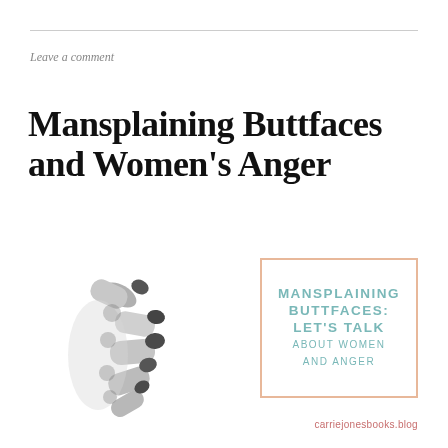Leave a comment
Mansplaining Buttfaces and Women's Anger
[Figure (illustration): Black and white photograph of several fingers pointing from the bottom/left, viewed from above on white background]
[Figure (infographic): Text box with peach/salmon border reading: MANSPLAINING BUTTFACES: LET'S TALK ABOUT WOMEN AND ANGER in teal uppercase letters]
carriejonesbooks.blog